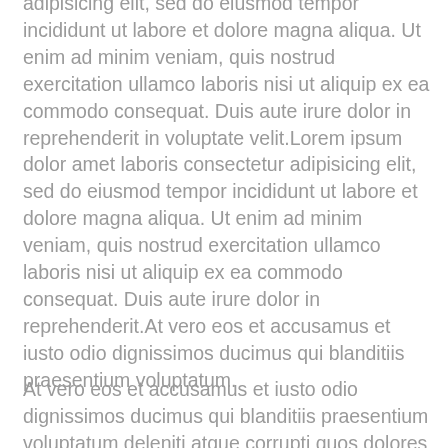adipisicing elit, sed do eiusmod tempor incididunt ut labore et dolore magna aliqua. Ut enim ad minim veniam, quis nostrud exercitation ullamco laboris nisi ut aliquip ex ea commodo consequat. Duis aute irure dolor in reprehenderit in voluptate velit.Lorem ipsum dolor amet laboris consectetur adipisicing elit, sed do eiusmod tempor incididunt ut labore et dolore magna aliqua. Ut enim ad minim veniam, quis nostrud exercitation ullamco laboris nisi ut aliquip ex ea commodo consequat. Duis aute irure dolor in reprehenderit.At vero eos et accusamus et iusto odio dignissimos ducimus qui blanditiis praesentium voluptatum.
At vero eos et accusamus et iusto odio dignissimos ducimus qui blanditiis praesentium voluptatum deleniti atque corrupti quos dolores et